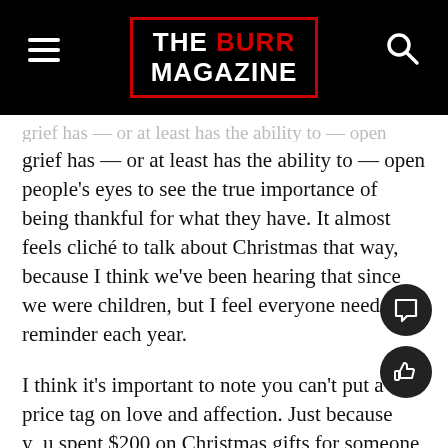[Figure (logo): The Burr Magazine logo in a red-bordered box on a black header bar, with hamburger menu icon on left and search icon on right]
grief has — or at least has the ability to — open people's eyes to see the true importance of being thankful for what they have. It almost feels cliché to talk about Christmas that way, because I think we've been hearing that since we were children, but I feel everyone needs a reminder each year.
I think it's important to note you can't put a price tag on love and affection. Just because you spent $200 on Christmas gifts for someone doesn't mean you love them more than the person who spent $10. It's better to consider the fact that you simply thought of a person —